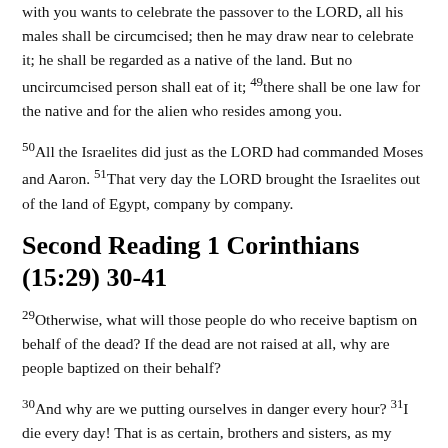with you wants to celebrate the passover to the LORD, all his males shall be circumcised; then he may draw near to celebrate it; he shall be regarded as a native of the land. But no uncircumcised person shall eat of it; 49there shall be one law for the native and for the alien who resides among you.
50All the Israelites did just as the LORD had commanded Moses and Aaron. 51That very day the LORD brought the Israelites out of the land of Egypt, company by company.
Second Reading 1 Corinthians (15:29) 30-41
29Otherwise, what will those people do who receive baptism on behalf of the dead? If the dead are not raised at all, why are people baptized on their behalf?
30And why are we putting ourselves in danger every hour? 31I die every day! That is as certain, brothers and sisters, as my